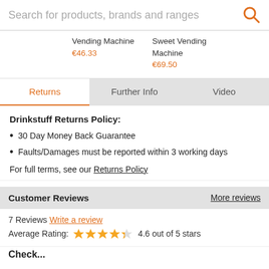Search for products, brands and ranges
Vending Machine €46.33
Sweet Vending Machine €69.50
Returns | Further Info | Video
Drinkstuff Returns Policy:
30 Day Money Back Guarantee
Faults/Damages must be reported within 3 working days
For full terms, see our Returns Policy
Customer Reviews
More reviews
7 Reviews Write a review
Average Rating: 4.6 out of 5 stars
Check...